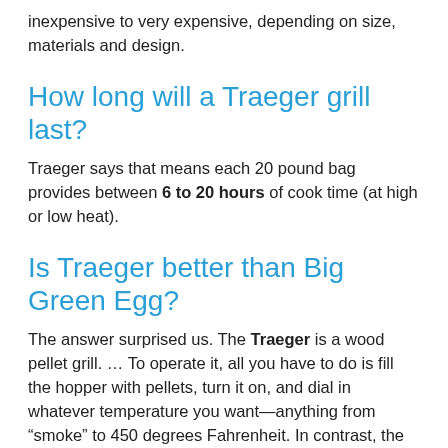inexpensive to very expensive, depending on size, materials and design.
How long will a Traeger grill last?
Traeger says that means each 20 pound bag provides between 6 to 20 hours of cook time (at high or low heat).
Is Traeger better than Big Green Egg?
The answer surprised us. The Traeger is a wood pellet grill. … To operate it, all you have to do is fill the hopper with pellets, turn it on, and dial in whatever temperature you want—anything from “smoke” to 450 degrees Fahrenheit. In contrast, the Big Green Egg is